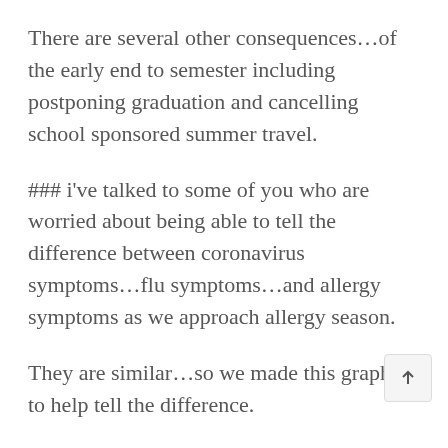There are several other consequences…of the early end to semester including postponing graduation and cancelling school sponsored summer travel.
### i've talked to some of you who are worried about being able to tell the difference between coronavirus symptoms…flu symptoms…and allergy symptoms as we approach allergy season.
They are similar…so we made this graphic to help tell the difference.
Coronavirus symptoms appear about two to 14